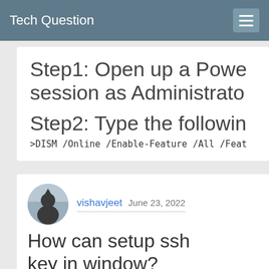Tech Question
Step1: Open up a PowerShell session as Administrator
Step2: Type the following
>DISM /Online /Enable-Feature /All /Feat
vishavjeet  June 23, 2022
How can setup ssh key in window?
Open GIT Bash and